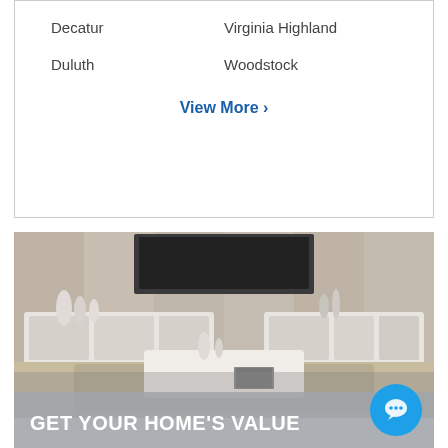Decatur
Virginia Highland
Duluth
Woodstock
View More >
[Figure (photo): Interior living room photo showing modern white furniture including a TV stand, coffee table with decorative vases, on a rug with wood-paneled walls in background]
GET YOUR HOME'S VALUE
Real-time pricing information